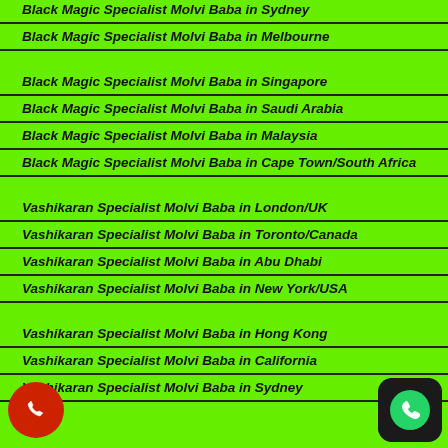Black Magic Specialist Molvi Baba in Sydney
Black Magic Specialist Molvi Baba in Melbourne
Black Magic Specialist Molvi Baba in Singapore
Black Magic Specialist Molvi Baba in Saudi Arabia
Black Magic Specialist Molvi Baba in Malaysia
Black Magic Specialist Molvi Baba in Cape Town/South Africa
Vashikaran Specialist Molvi Baba in London/UK
Vashikaran Specialist Molvi Baba in Toronto/Canada
Vashikaran Specialist Molvi Baba in Abu Dhabi
Vashikaran Specialist Molvi Baba in New York/USA
Vashikaran Specialist Molvi Baba in Hong Kong
Vashikaran Specialist Molvi Baba in California
Vashikaran Specialist Molvi Baba in Sydney